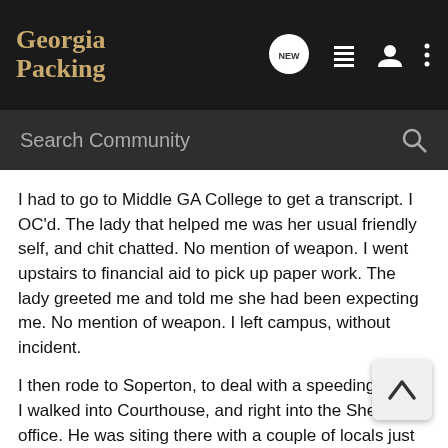Georgia Packing
I had to go to Middle GA College to get a transcript. I OC'd. The lady that helped me was her usual friendly self, and chit chatted. No mention of weapon. I went upstairs to financial aid to pick up paper work. The lady greeted me and told me she had been expecting me. No mention of weapon. I left campus, without incident.
I then rode to Soperton, to deal with a speeding ticket. I walked into Courthouse, and right into the Sheriff's office. He was siting there with a couple of locals just shooting the bull as it appeared. I asked him about the ticket. We walked across the hall to the probate court office and took care of the ticket. He shook my hand and told me to have a good day. He never once said anything about my weapon.